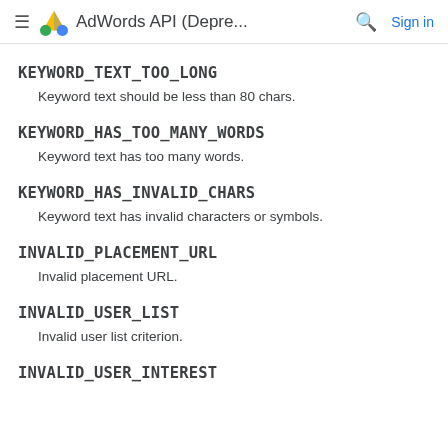≡  AdWords API (Depre...  🔍  Sign in
KEYWORD_TEXT_TOO_LONG
Keyword text should be less than 80 chars.
KEYWORD_HAS_TOO_MANY_WORDS
Keyword text has too many words.
KEYWORD_HAS_INVALID_CHARS
Keyword text has invalid characters or symbols.
INVALID_PLACEMENT_URL
Invalid placement URL.
INVALID_USER_LIST
Invalid user list criterion.
INVALID_USER_INTEREST